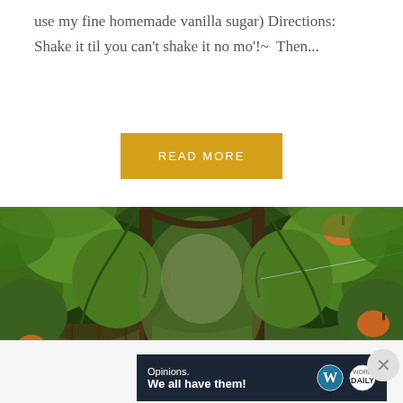use my fine homemade vanilla sugar) Directions:  Shake it til you can't shake it no mo'!~  Then...
READ MORE
[Figure (photo): A lush garden scene showing a vine-covered archway or trellis with pumpkins growing on the vines. The path leads through dense green foliage with orange pumpkins visible on both sides. There is bright sunlight and what appears to be a water sprinkler or mist in the background.]
Advertisements
[Figure (screenshot): Advertisement banner with dark navy background reading 'Opinions. We all have them!' with WordPress logo (W in circle) and another circular logo on the right.]